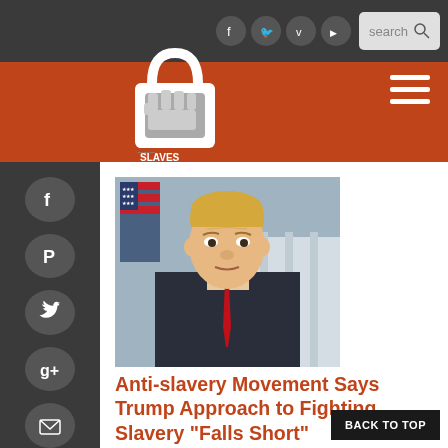[Figure (logo): Free the Slaves logo — padlock with fist, text FREE THE SLAVES]
[Figure (photo): Portrait photo of Donald Trump in suit with red tie, American flag in background, White House visible]
Anti-slavery Movement Says Trump Approach to Fighting Slavery “Falls Short”
POSTED BY TERRY FITZPATRICK ON FEBRUARY 16, 2017
A little-noticed executive order last